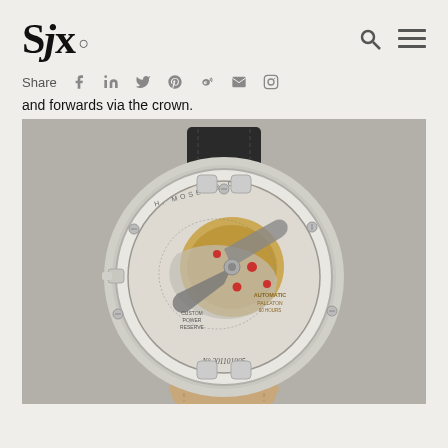SJx.
Share
and forwards via the crown.
[Figure (photo): Back view of an H. Moser & Cie watch showing the movement through a sapphire caseback, with leather strap, serial number No 201101905 visible on the case back]